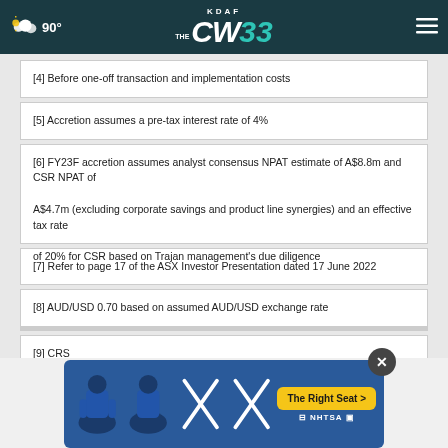KDAF CW33 | 90°
[4] Before one-off transaction and implementation costs
[5] Accretion assumes a pre-tax interest rate of 4%
[6] FY23F accretion assumes analyst consensus NPAT estimate of A$8.8m and CSR NPAT of A$4.7m (excluding corporate savings and product line synergies) and an effective tax rate of 20% for CSR based on Trajan management's due diligence
[7] Refer to page 17 of the ASX Investor Presentation dated 17 June 2022
[8] AUD/USD 0.70 based on assumed AUD/USD exchange rate
[9] CRS